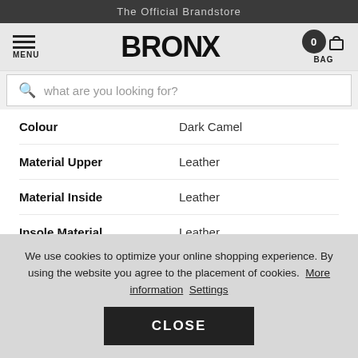The Official Brandstore
[Figure (logo): BRONX brand logo with menu icon and bag icon]
what are you looking for?
| Property | Value |
| --- | --- |
| Colour | Dark Camel |
| Material Upper | Leather |
| Material Inside | Leather |
| Insole Material | Leather |
| Outsole Material | Rubber |
We use cookies to optimize your online shopping experience. By using the website you agree to the placement of cookies. More information Settings
CLOSE